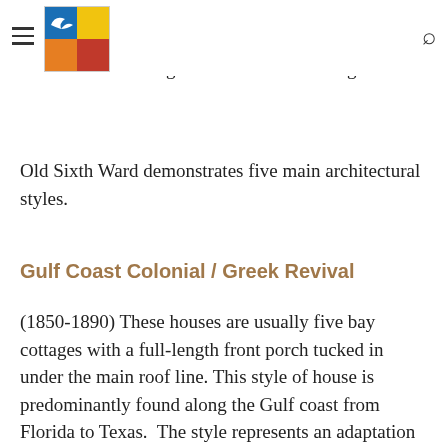[hamburger menu icon] [logo] [search icon]
architectural styles. Bungalows were built among the Victorian cottages, but the essential character of the neighborhood did not change.
Old Sixth Ward demonstrates five main architectural styles.
Gulf Coast Colonial / Greek Revival
(1850-1890) These houses are usually five bay cottages with a full-length front porch tucked in under the main roof line. This style of house is predominantly found along the Gulf coast from Florida to Texas.  The style represents an adaptation of the antebellum Greek Revival architecture popular in the northeast to the semi-tropical climate.